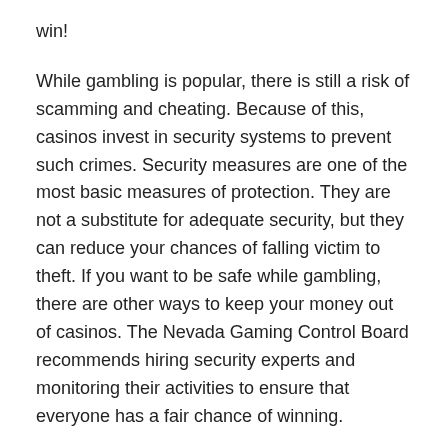win!
While gambling is popular, there is still a risk of scamming and cheating. Because of this, casinos invest in security systems to prevent such crimes. Security measures are one of the most basic measures of protection. They are not a substitute for adequate security, but they can reduce your chances of falling victim to theft. If you want to be safe while gambling, there are other ways to keep your money out of casinos. The Nevada Gaming Control Board recommends hiring security experts and monitoring their activities to ensure that everyone has a fair chance of winning.
Aside from ensuring the safety of players, casinos use technology to improve the way they operate. Modern casinos use video cameras and computers to monitor their games. For instance, “chip tracking” is a method